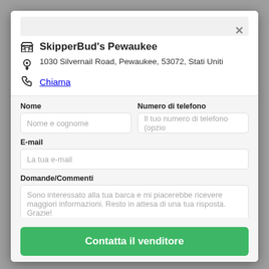SkipperBud's Pewaukee
1030 Silvernail Road, Pewaukee, 53072, Stati Uniti
Chiama
Nome
Numero di telefono
E-mail
Domande/Commenti
Sono interessato alla tua barca e mi piacerebbe ricevere maggiori informazioni. Resto in attesa di una tua risposta. Grazie!
Contatta il venditore